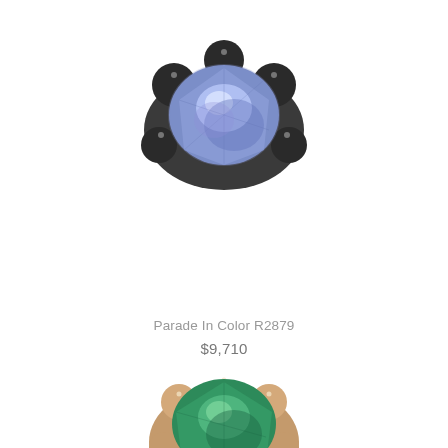[Figure (photo): Close-up photo of a blue gemstone ring with dark/black metal claw prong setting, featuring a large faceted blue-purple tanzanite or sapphire center stone]
Parade In Color R2879
$9,710
[Figure (photo): Partial photo of a green gemstone ring with rose gold claw prong setting, featuring a large faceted emerald-green center stone, cropped at bottom of page]